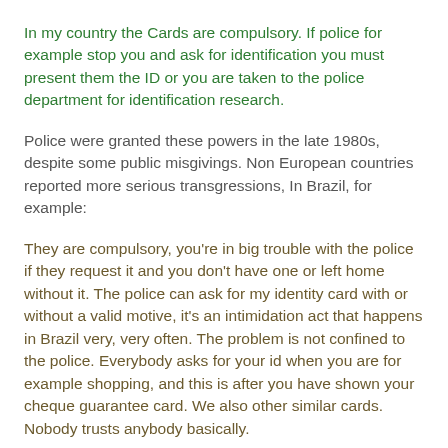In my country the Cards are compulsory. If police for example stop you and ask for identification you must present them the ID or you are taken to the police department for identification research.
Police were granted these powers in the late 1980s, despite some public misgivings. Non European countries reported more serious transgressions, In Brazil, for example:
They are compulsory, you're in big trouble with the police if they request it and you don't have one or left home without it. The police can ask for my identity card with or without a valid motive, it's an intimidation act that happens in Brazil very, very often. The problem is not confined to the police. Everybody asks for your id when you are for example shopping, and this is after you have shown your cheque guarantee card. We also other similar cards. Nobody trusts anybody basically.
Predictably, political hot-spots have seen widescale abuse of the card system: